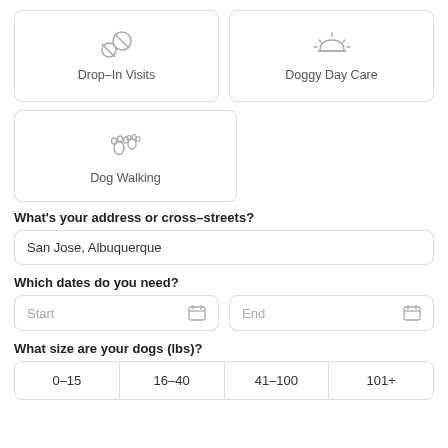[Figure (illustration): Drop-In Visits service card with icon of dog paw and ball]
[Figure (illustration): Doggy Day Care service card with sun/sunrise icon]
[Figure (illustration): Dog Walking service card with paw prints icon]
What's your address or cross-streets?
San Jose, Albuquerque
Which dates do you need?
Start
End
What size are your dogs (lbs)?
0–15
16–40
41–100
101+